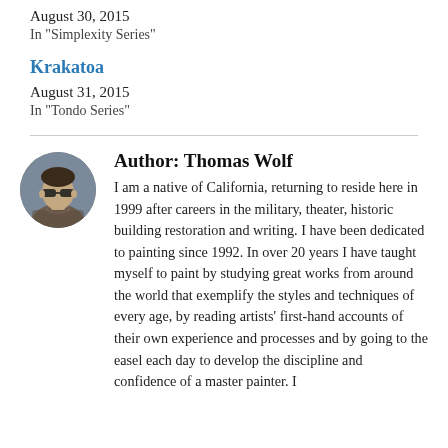August 30, 2015
In "Simplexity Series"
Krakatoa
August 31, 2015
In "Tondo Series"
[Figure (photo): Circular avatar photo of author Thomas Wolf wearing sunglasses]
Author: Thomas Wolf
I am a native of California, returning to reside here in 1999 after careers in the military, theater, historic building restoration and writing. I have been dedicated to painting since 1992. In over 20 years I have taught myself to paint by studying great works from around the world that exemplify the styles and techniques of every age, by reading artists' first-hand accounts of their own experience and processes and by going to the easel each day to develop the discipline and confidence of a master painter. I